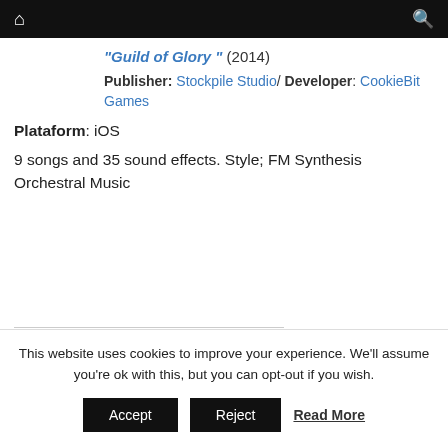Home | Search
"Guild of Glory" (2014)
Publisher: Stockpile Studio/ Developer: CookieBit Games
Plataform: iOS
9 songs and 35 sound effects. Style; FM Synthesis Orchestral Music
This website uses cookies to improve your experience. We'll assume you're ok with this, but you can opt-out if you wish. Accept | Reject | Read More